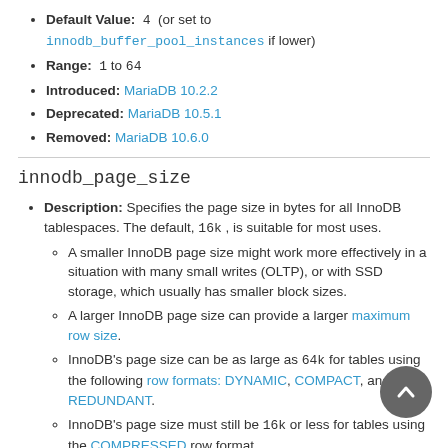Default Value: 4 (or set to innodb_buffer_pool_instances if lower)
Range: 1 to 64
Introduced: MariaDB 10.2.2
Deprecated: MariaDB 10.5.1
Removed: MariaDB 10.6.0
innodb_page_size
Description: Specifies the page size in bytes for all InnoDB tablespaces. The default, 16k , is suitable for most uses.
A smaller InnoDB page size might work more effectively in a situation with many small writes (OLTP), or with SSD storage, which usually has smaller block sizes.
A larger InnoDB page size can provide a larger maximum row size.
InnoDB's page size can be as large as 64k for tables using the following row formats: DYNAMIC, COMPACT, and REDUNDANT.
InnoDB's page size must still be 16k or less for tables using the COMPRESSED row format.